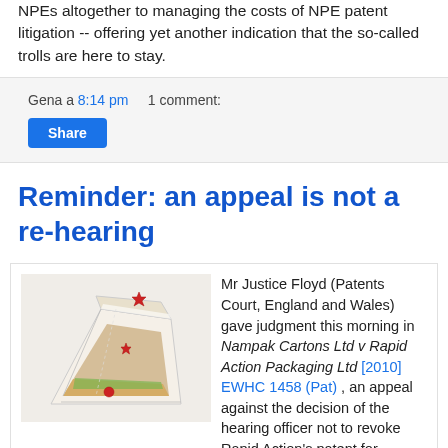NPEs altogether to managing the costs of NPE patent litigation -- offering yet another indication that the so-called trolls are here to stay.
Gena a 8:14 pm   1 comment:
Share
Reminder: an appeal is not a re-hearing
[Figure (photo): A triangular sandwich package with decorative design, showing a sandwich wedge carton from Rapid Action Packaging]
Mr Justice Floyd (Patents Court, England and Wales) gave judgment this morning in Nampak Cartons Ltd v Rapid Action Packaging Ltd [2010] EWHC 1458 (Pat) , an appeal against the decision of the hearing officer not to revoke Rapid Action's patent for